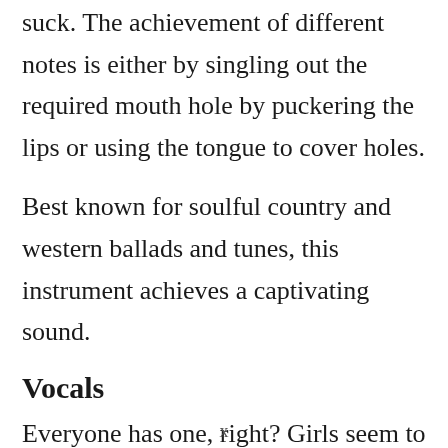suck. The achievement of different notes is either by singling out the required mouth hole by puckering the lips or using the tongue to cover holes.
Best known for soulful country and western ballads and tunes, this instrument achieves a captivating sound.
Vocals
Everyone has one, right? Girls seem to love t[redacted]
x